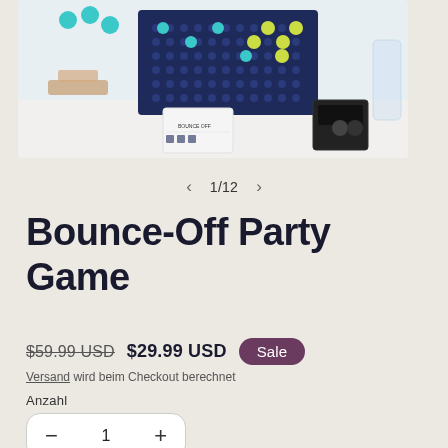[Figure (photo): Product photo of Bounce-Off Party Game showing a dark blue grid board with teal and yellow-green balls, instruction cards, and game components on a white surface. Partially cropped at top showing 1 of 12 product images.]
1/12
Bounce-Off Party Game
$59.99 USD  $29.99 USD  Sale
Versand wird beim Checkout berechnet
Anzahl
1